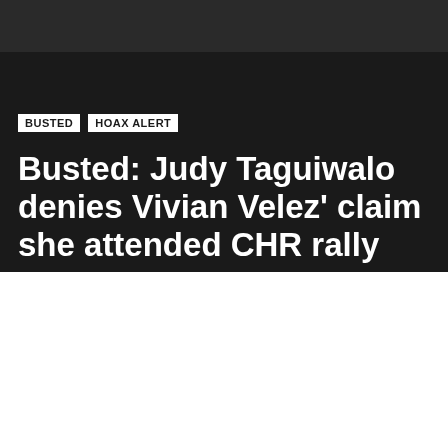[Figure (photo): Dark photo strip at the top of the page showing partial view of people]
BUSTED   HOAX ALERT
Busted: Judy Taguiwalo denies Vivian Velez' claim she attended CHR rally
5 years ago
24 Views
Former Social Welfare Secretary Judy Taguiwalo clarified that she did not attend the Commission on Human Rights' rally on September 21.
She contradicted actress Vivian Velez' claim that she attended the rally, saying that she is not “Yellow.”